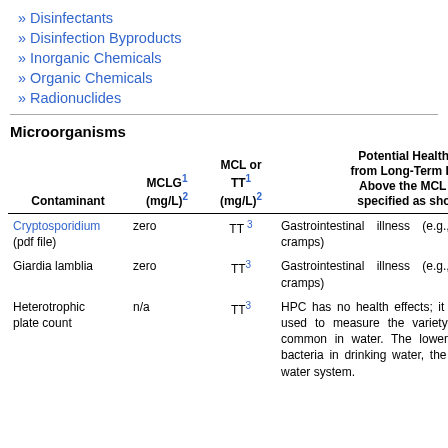» Disinfectants
» Disinfection Byproducts
» Inorganic Chemicals
» Organic Chemicals
» Radionuclides
Microorganisms
| Contaminant | MCLG1 (mg/L)2 | MCL or TT1 (mg/L)2 | Potential Health Effects from Long-Term Exposure Above the MCL (unless specified as short-term) | Sources of Contaminant in Drinking Water |
| --- | --- | --- | --- | --- |
| Cryptosporidium (pdf file) | zero | TT 3 | Gastrointestinal illness (e.g., diarrhea, vomiting, cramps) | Human and animal fecal waste |
| Giardia lamblia | zero | TT3 | Gastrointestinal illness (e.g., diarrhea, vomiting, cramps) | Human and animal fecal waste |
| Heterotrophic plate count | n/a | TT3 | HPC has no health effects; it is an analytic method used to measure the variety of bacteria that are common in water. The lower the concentration of bacteria in drinking water, the better maintained the water system. | HPC measures a range of bacteria that are present in the environment |